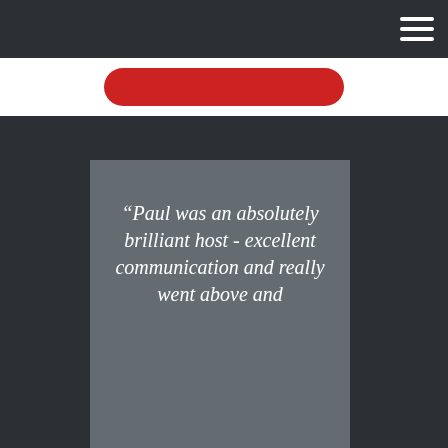[Figure (screenshot): Dark navigation bar at top of webpage with hamburger menu icon in top-right corner]
[Figure (illustration): Red rounded rectangle button on white background]
“Paul was an absolutely brilliant host - excellent communication and really went above and